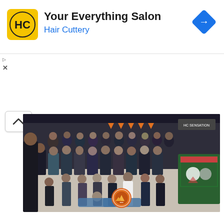[Figure (other): Hair Cuttery advertisement banner with yellow HC logo, title 'Your Everything Salon', subtitle 'Hair Cuttery', and a blue navigation arrow icon on the right]
[Figure (photo): Large group photo of approximately 40-50 people posing together indoors. People are arranged in multiple rows, some standing, some kneeling, some sitting on the floor. An orange circular logo/badge is visible on the floor in the foreground center. A decorated green booth/cart is visible on the right side. The venue appears to be an indoor hall or convention space.]